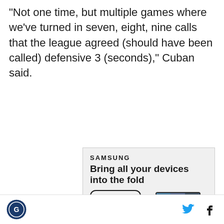"Not one time, but multiple games where we've turned in seven, eight, nine calls that the league agreed (should have been called) defensive 3 (seconds)," Cuban said.
[Figure (infographic): Samsung advertisement for Galaxy Z Fold4. Shows Samsung logo at top, headline 'Bring all your devices into the fold', a 'LEARN MORE' button, product images of Galaxy Z Fold4 smartphone, smartwatch, earbuds and stylus with people on a video call on the folded phone screen. Disclaimer text at bottom.]
Looks Like a Sports News Site Footer with logo on left and Twitter and Facebook social icons on right